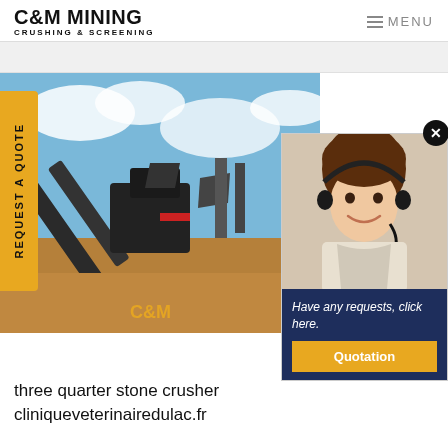C&M MINING CRUSHING & SCREENING | MENU
[Figure (screenshot): Website screenshot of C&M Mining Crushing & Screening showing a mining crusher machine on site with blue sky background, a yellow 'REQUEST A QUOTE' vertical tab on the left, a popup panel with a customer service representative wearing a headset, a 'Have any requests, click here.' message in navy blue, and a gold Quotation button. Below the main image is text: 'three quarter stone crusher cliniqueveterinairedulac.fr']
three quarter stone crusher cliniqueveterinairedulac.fr